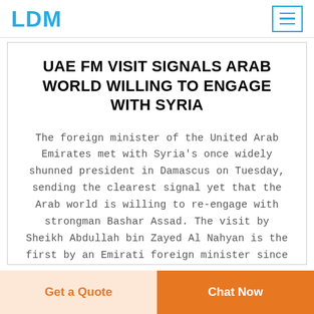LDM
UAE FM VISIT SIGNALS ARAB WORLD WILLING TO ENGAGE WITH SYRIA
The foreign minister of the United Arab Emirates met with Syria's once widely shunned president in Damascus on Tuesday, sending the clearest signal yet that the Arab world is willing to re-engage with strongman Bashar Assad. The visit by Sheikh Abdullah bin Zayed Al Nahyan is the first by an Emirati foreign minister since Syria's civil war
Get a Quote
Chat Now